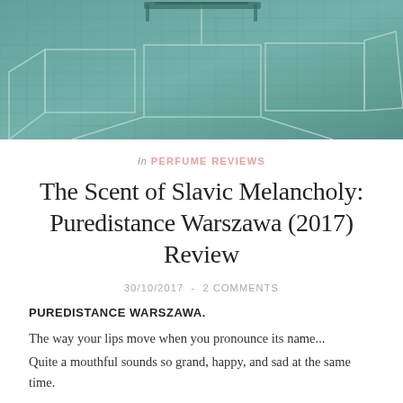[Figure (photo): Aerial or wide-angle view of a cobblestone square with chalk-drawn rectangular lines on the ground, teal/blue-green tint, a bench or railing visible at the top]
In PERFUME REVIEWS
The Scent of Slavic Melancholy: Puredistance Warszawa (2017) Review
30/10/2017  -  2 COMMENTS
PUREDISTANCE WARSZAWA.
The way your lips move when you pronounce its name...
Quite a mouthful sounds so grand, happy, and sad at the same time.